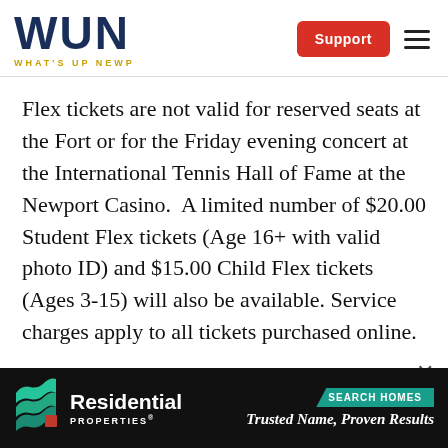WUN WHAT'S UP NEWP
Flex tickets are not valid for reserved seats at the Fort or for the Friday evening concert at the International Tennis Hall of Fame at the Newport Casino.  A limited number of $20.00 Student Flex tickets (Age 16+ with valid photo ID) and $15.00 Child Flex tickets (Ages 3-15) will also be available. Service charges apply to all tickets purchased online.
[Figure (infographic): Residential Properties advertisement banner: logo with stacked green wave icon, 'Residential PROPERTIES' text, 'SEARCH HOMES' teal tag, and 'Trusted Name, Proven Results' tagline in white italic text on black background.]